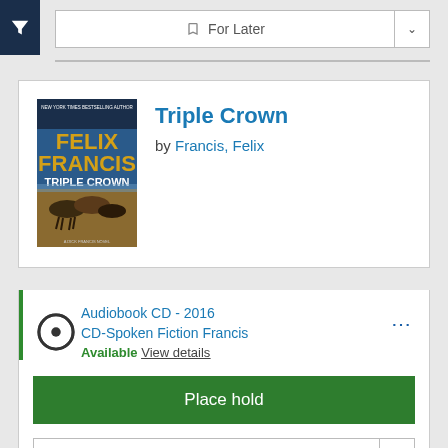[Figure (screenshot): Dark blue filter/funnel icon button in top-left corner]
For Later
[Figure (illustration): Book cover for Triple Crown by Felix Francis showing horses racing]
Triple Crown
by Francis, Felix
Audiobook CD - 2016
CD-Spoken Fiction Francis
Available View details
Place hold
For Later